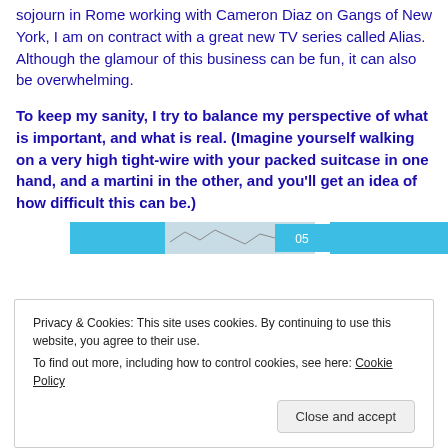sojourn in Rome working with Cameron Diaz on Gangs of New York, I am on contract with a great new TV series called Alias. Although the glamour of this business can be fun, it can also be overwhelming.
To keep my sanity, I try to balance my perspective of what is important, and what is real. (Imagine yourself walking on a very high tight-wire with your packed suitcase in one hand, and a martini in the other, and you'll get an idea of how difficult this can be.)
[Figure (screenshot): Partial screenshot showing a light blue and white banner/image strip with the number 05 visible]
Privacy & Cookies: This site uses cookies. By continuing to use this website, you agree to their use.
To find out more, including how to control cookies, see here: Cookie Policy
Close and accept